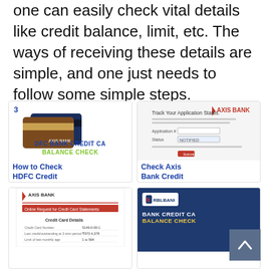one can easily check vital details like credit balance, limit, etc. The ways of receiving these details are simple, and one just needs to follow some simple steps.
[Figure (screenshot): HDFC Bank Credit Card Balance Check article thumbnail with credit cards image, blue text 'DFC BANK CREDIT CA' and green text 'BALANCE CHECK']
[Figure (screenshot): Axis Bank credit card application status tracking page screenshot with Axis Bank logo]
[Figure (screenshot): Axis Bank Online Request for Credit Card Statements form screenshot]
[Figure (screenshot): RBL Bank Credit Card Balance Check article thumbnail with dark blue background and RBL Bank logo]
How to Check HDFC Credit
Check Axis Bank Credit